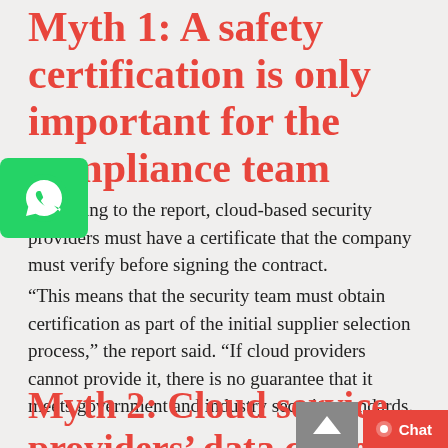Myth 1: A safety certification is only important for the compliance team
According to the report, cloud-based security providers must have a certificate that the company must verify before signing the contract.
“This means that the security team must obtain certification as part of the initial supplier selection process,” the report said. “If cloud providers cannot provide it, there is no guarantee that it meets government and industry security standards.
Myth 2: Cloud service providers’ data centers are always more secure than